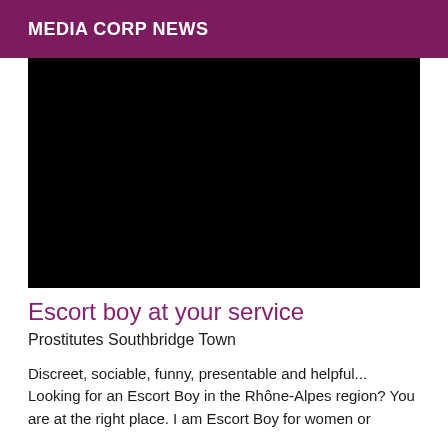MEDIA CORP NEWS
[Figure (photo): Black rectangular image block, content not visible]
Escort boy at your service
Prostitutes Southbridge Town
Discreet, sociable, funny, presentable and helpful... Looking for an Escort Boy in the Rhône-Alpes region? You are at the right place. I am Escort Boy for women or